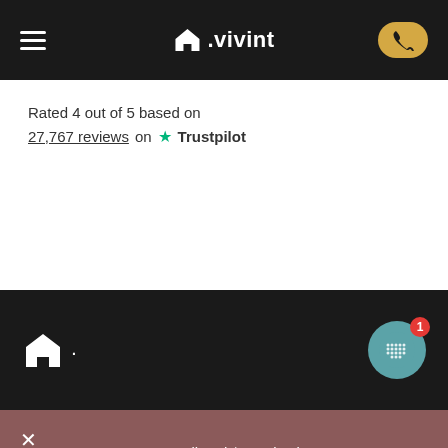[Figure (screenshot): Vivint website navigation bar with hamburger menu, Vivint logo (house icon + .vivint), and yellow phone button]
Rated 4 out of 5 based on 27,767 reviews on ★ Trustpilot
[Figure (screenshot): Dark section with Vivint logo (white house icon + dot) and a teal chat bubble icon with red notification badge showing '1']
Pro Install and $0 Activation
214.845.6008